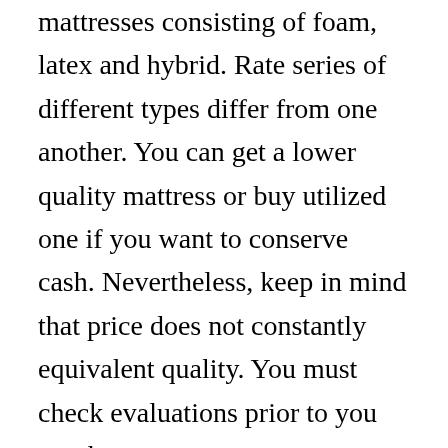mattresses consisting of foam, latex and hybrid. Rate series of different types differ from one another. You can get a lower quality mattress or buy utilized one if you want to conserve cash. Nevertheless, keep in mind that price does not constantly equivalent quality. You must check evaluations prior to you purchase a mattress.
The type of material used in a mattress determines its expense. Natural products are usually more expensive than artificial ones. Another element that impacts expense is the density of the foam. A high density